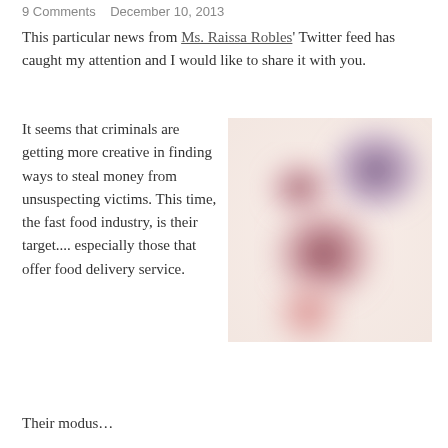9 Comments   December 10, 2013
This particular news from Ms. Raissa Robles' Twitter feed has caught my attention and I would like to share it with you.
It seems that criminals are getting more creative in finding ways to steal money from unsuspecting victims. This time, the fast food industry, is their target.... especially those that offer food delivery service.
[Figure (illustration): Blurred abstract image with soft circular blobs in purple, dark red/maroon, and pink/salmon colors on a light beige background]
Their modus…